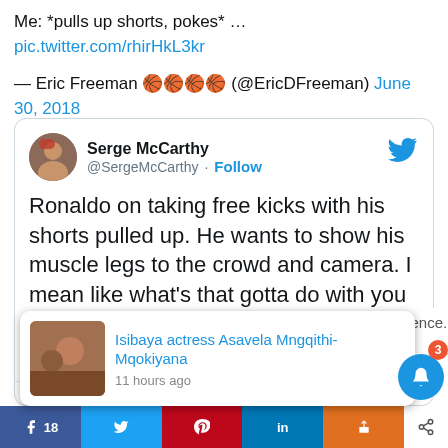Me: *pulls up shorts, pokes* … pic.twitter.com/rhirHkL3kr
— Eric Freeman 🏀🏀🏀🏀 (@EricDFreeman) June 30, 2018
[Figure (screenshot): Embedded tweet card from Serge McCarthy (@SergeMcCarthy) saying: Ronaldo on taking free kicks with his shorts pulled up. He wants to show his muscle legs to the crowd and camera. I mean like what's that gotta do with you taking the free kick. Timestamp: 6:40 PM · Jun 30, 2018. Actions: 2 likes, Reply, Copy link. Explore what's happening on Twitter banner.]
[Figure (screenshot): Popup notification showing Isibaya actress Asavela Mngqithi-Mqokiyana, 11 hours ago. Notification bell icon with badge 3. Bottom sharing bar with Facebook 18, Twitter, Pinterest, LinkedIn, and orange share buttons.]